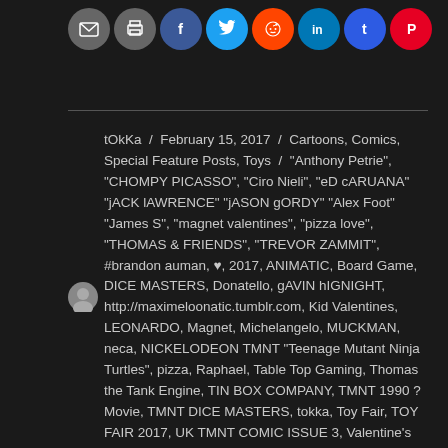[Figure (other): Row of social media sharing icon buttons: email, print, Facebook, Twitter, Reddit, LinkedIn, Tumblr, Pinterest]
tOkKa / February 15, 2017 / Cartoons, Comics, Special Feature Posts, Toys / "Anthony Petrie", "CHOMPY PICASSO", "Ciro Nieli", "eD cARUANA" "jACK lAWRENCE" "jASON gORDY" "Alex Foot" "James S", "magnet valentines", "pizza love", "THOMAS & FRIENDS", "TREVOR ZAMMIT", #brandon auman, ♥, 2017, ANIMATIC, Board Game, DICE MASTERS, Donatello, gAVIN hIGNIGHT, http://maximeloonatic.tumblr.com, Kid Valentines, LEONARDO, Magnet, Michelangelo, MUCKMAN, neca, NICKELODEON TMNT "Teenage Mutant Ninja Turtles", pizza, Raphael, Table Top Gaming, Thomas the Tank Engine, TIN BOX COMPANY, TMNT 1990 ?Movie, TMNT DICE MASTERS, tokka, Toy Fair, TOY FAIR 2017, UK TMNT COMIC ISSUE 3, Valentine's Day, VALENTINES, WIZKIDS